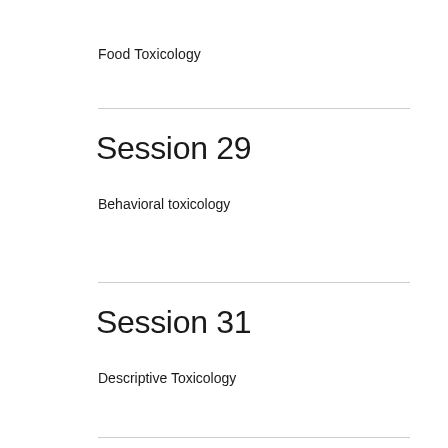Food Toxicology
Session 29
Behavioral toxicology
Session 31
Descriptive Toxicology